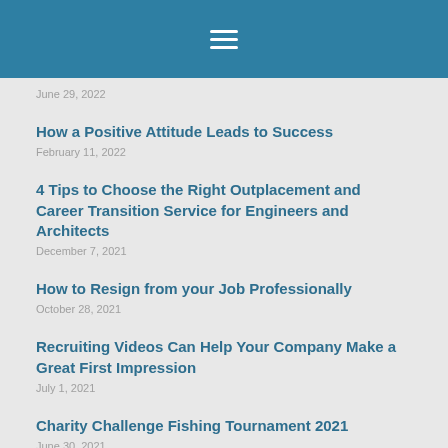[Figure (screenshot): Mobile navigation header bar with hamburger menu icon (three horizontal white lines) on teal/blue background]
June 29, 2022
How a Positive Attitude Leads to Success
February 11, 2022
4 Tips to Choose the Right Outplacement and Career Transition Service for Engineers and Architects
December 7, 2021
How to Resign from your Job Professionally
October 28, 2021
Recruiting Videos Can Help Your Company Make a Great First Impression
July 1, 2021
Charity Challenge Fishing Tournament 2021
June 30, 2021